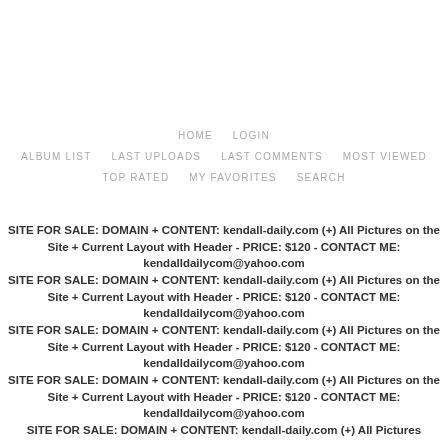HOME   LOGIN
ALBUM LIST   LAST UPLOADS   LAST COMMENTS   MOST VIEWED
TOP RATED   MY FAVORITES   SEARCH
SITE FOR SALE: DOMAIN + CONTENT: kendall-daily.com (+) All Pictures on the Site + Current Layout with Header - PRICE: $120 - CONTACT ME: kendalldailycom@yahoo.com
SITE FOR SALE: DOMAIN + CONTENT: kendall-daily.com (+) All Pictures on the Site + Current Layout with Header - PRICE: $120 - CONTACT ME: kendalldailycom@yahoo.com
SITE FOR SALE: DOMAIN + CONTENT: kendall-daily.com (+) All Pictures on the Site + Current Layout with Header - PRICE: $120 - CONTACT ME: kendalldailycom@yahoo.com
SITE FOR SALE: DOMAIN + CONTENT: kendall-daily.com (+) All Pictures on the Site + Current Layout with Header - PRICE: $120 - CONTACT ME: kendalldailycom@yahoo.com
SITE FOR SALE: DOMAIN + CONTENT: kendall-daily.com (+) All Pictures